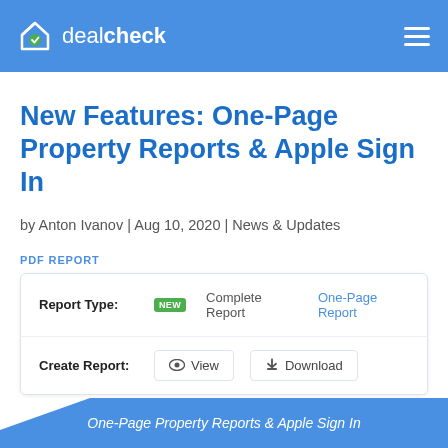dealcheck
New Features: One-Page Property Reports & Apple Sign In
by Anton Ivanov | Aug 10, 2020 | News & Updates
PDF REPORT
[Figure (screenshot): Report card UI showing Report Type with NEW badge, options for Complete Report and One-Page Report, and Create Report row with View and Download buttons]
One-Page Property Reports & Apple Sign In